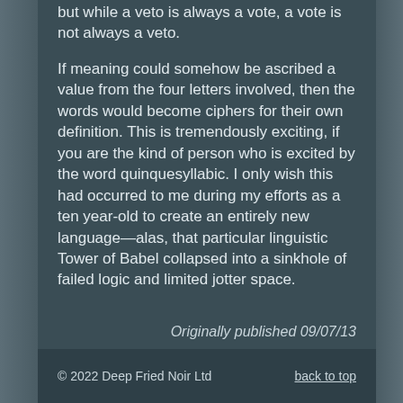but while a veto is always a vote, a vote is not always a veto.
If meaning could somehow be ascribed a value from the four letters involved, then the words would become ciphers for their own definition. This is tremendously exciting, if you are the kind of person who is excited by the word quinquesyllabic. I only wish this had occurred to me during my efforts as a ten year-old to create an entirely new language—alas, that particular linguistic Tower of Babel collapsed into a sinkhole of failed logic and limited jotter space.
Originally published 09/07/13
© 2022 Deep Fried Noir Ltd   back to top